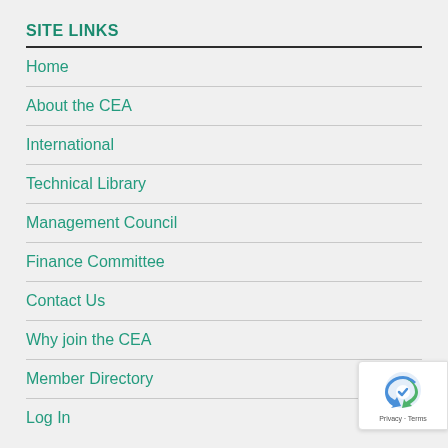SITE LINKS
Home
About the CEA
International
Technical Library
Management Council
Finance Committee
Contact Us
Why join the CEA
Member Directory
Log In